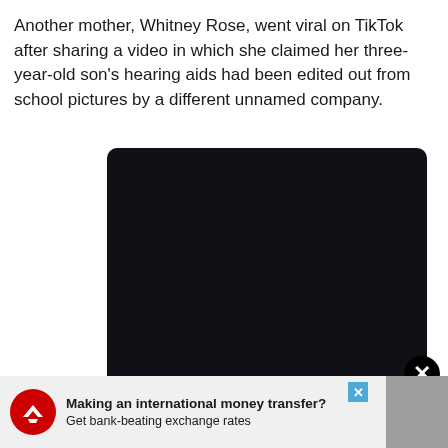Another mother, Whitney Rose, went viral on TikTok after sharing a video in which she claimed her three-year-old son's hearing aids had been edited out from school pictures by a different unnamed company.
[Figure (other): Dark/black rectangle representing an embedded video or image placeholder from TikTok]
[Figure (other): Advertisement banner at bottom of page: red circular logo with white bird/eagle icon, text 'Making an international money transfer? Get bank-beating exchange rates']